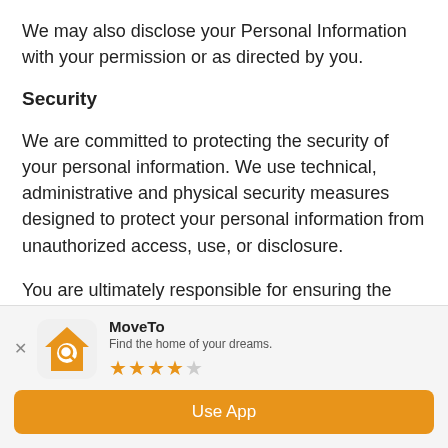We may also disclose your Personal Information with your permission or as directed by you.
Security
We are committed to protecting the security of your personal information. We use technical, administrative and physical security measures designed to protect your personal information from unauthorized access, use, or disclosure.
You are ultimately responsible for ensuring the security of your username, password and User
[Figure (screenshot): App install banner for 'MoveTo' app with tagline 'Find the home of your dreams.', 3.5 star rating, and 'Use App' button in orange.]